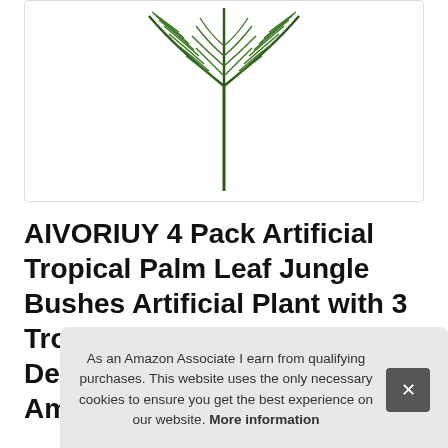[Figure (illustration): Artificial tropical palm leaf illustration showing green palm fronds with a central stem, isolated on white background inside a rounded rectangle border.]
AIVORIUY 4 Pack Artificial Tropical Palm Leaf Jungle Bushes Artificial Plant with 3 Tropical Leaves 70cm in Gr... De... Am...
As an Amazon Associate I earn from qualifying purchases. This website uses the only necessary cookies to ensure you get the best experience on our website. More information